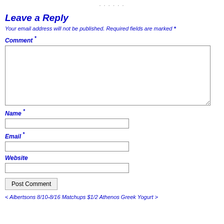Leave a Reply
Your email address will not be published. Required fields are marked *
Comment *
Name *
Email *
Website
Post Comment
< Albertsons 8/10-8/16 Matchups $1/2 Athenos Greek Yogurt >